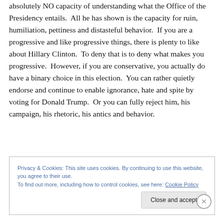absolutely NO capacity of understanding what the Office of the Presidency entails. All he has shown is the capacity for ruin, humiliation, pettiness and distasteful behavior. If you are a progressive and like progressive things, there is plenty to like about Hillary Clinton. To deny that is to deny what makes you progressive. However, if you are conservative, you actually do have a binary choice in this election. You can rather quietly endorse and continue to enable ignorance, hate and spite by voting for Donald Trump. Or you can fully reject him, his campaign, his rhetoric, his antics and behavior.
Privacy & Cookies: This site uses cookies. By continuing to use this website, you agree to their use. To find out more, including how to control cookies, see here: Cookie Policy
Close and accept